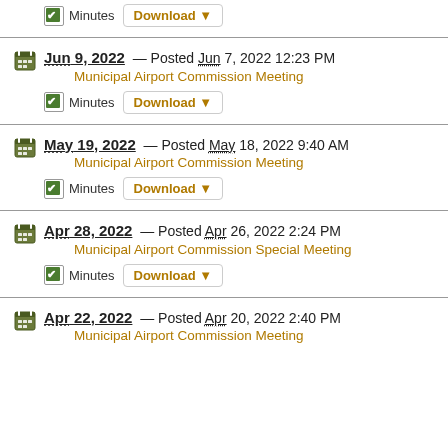Minutes  Download
Jun 9, 2022 — Posted Jun 7, 2022 12:23 PM
Municipal Airport Commission Meeting
Minutes  Download
May 19, 2022 — Posted May 18, 2022 9:40 AM
Municipal Airport Commission Meeting
Minutes  Download
Apr 28, 2022 — Posted Apr 26, 2022 2:24 PM
Municipal Airport Commission Special Meeting
Minutes  Download
Apr 22, 2022 — Posted Apr 20, 2022 2:40 PM
Municipal Airport Commission Meeting